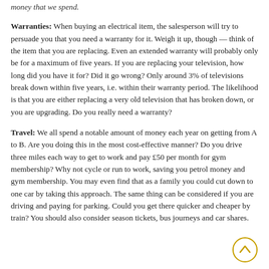money that we spend.
Warranties: When buying an electrical item, the salesperson will try to persuade you that you need a warranty for it. Weigh it up, though — think of the item that you are replacing. Even an extended warranty will probably only be for a maximum of five years. If you are replacing your television, how long did you have it for? Did it go wrong? Only around 3% of televisions break down within five years, i.e. within their warranty period. The likelihood is that you are either replacing a very old television that has broken down, or you are upgrading. Do you really need a warranty?
Travel: We all spend a notable amount of money each year on getting from A to B. Are you doing this in the most cost-effective manner? Do you drive three miles each way to get to work and pay £50 per month for gym membership? Why not cycle or run to work, saving you petrol money and gym membership. You may even find that as a family you could cut down to one car by taking this approach. The same thing can be considered if you are driving and paying for parking. Could you get there quicker and cheaper by train? You should also consider season tickets, bus journeys and car shares.